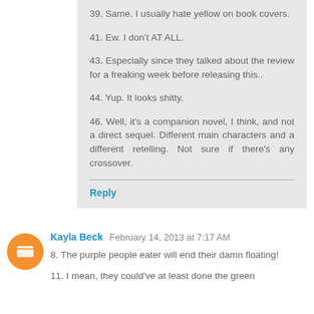39. Same. I usually hate yellow on book covers.
41. Ew. I don't AT ALL.
43. Especially since they talked about the review for a freaking week before releasing this..
44. Yup. It looks shitty.
46. Well, it's a companion novel, I think, and not a direct sequel. Different main characters and a different retelling. Not sure if there's any crossover.
Reply
Kayla Beck  February 14, 2013 at 7:17 AM
8. The purple people eater will end their damn floating!
11. I mean, they could've at least done the green